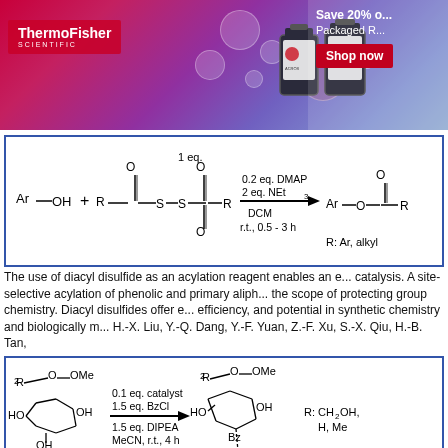[Figure (illustration): ThermoFisher Scientific banner advertisement with logo, product bottles, 'Save 20%', 'Packaged R...' text, and 'Shop now' button on colorful purple/pink background]
[Figure (engineering-diagram): Chemical reaction scheme: Ar-OH + diacyl disulfide (1 eq.) reacting with 0.2 eq. DMAP, 2 eq. NEt3, DCM, r.t., 0.5-3h to give aryl ester product. R: Ar, alkyl]
The use of diacyl disulfide as an acylation reagent enables an e... catalysis. A site-selective acylation of phenolic and primary aliph... the scope of protecting group chemistry. Diacyl disulfides offer e... efficiency, and potential in synthetic chemistry and biologically m... H.-X. Liu, Y.-Q. Dang, Y.-F. Yuan, Z.-F. Xu, S.-X. Qiu, H.-B. Tan,
[Figure (engineering-diagram): Chemical reaction scheme: sugar substrate with R, OMe, HO, OH groups reacting with 0.1 eq. catalyst, 1.5 eq. BzCl, 1.5 eq. DIPEA, MeCN, r.t., 4h to give monobenzoylated sugar product. R: CH2OH, H, Me]
Reversible covalent interactions of organoboron compounds en... catalyzed acylation of polyols. This catalytic protocol enables di... groups of a wide range of carbohydrate derivatives with diverse...